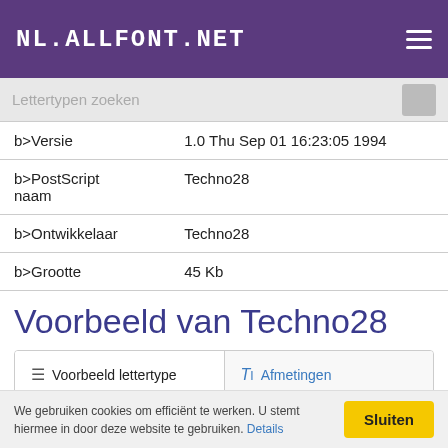NL.ALLFONT.NET
Lettertypen zoeken
| b>Versie | 1.0 Thu Sep 01 16:23:05 1994 |
| b>PostScript naam | Techno28 |
| b>Ontwikkelaar | Techno28 |
| b>Grootte | 45 Kb |
Voorbeeld van Techno28
Voorbeeld lettertype   TI Afmetingen
We gebruiken cookies om efficiënt te werken. U stemt hiermee in door deze website te gebruiken. Details